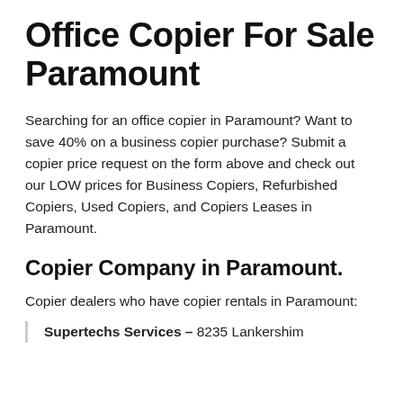Office Copier For Sale Paramount
Searching for an office copier in Paramount? Want to save 40% on a business copier purchase? Submit a copier price request on the form above and check out our LOW prices for Business Copiers, Refurbished Copiers, Used Copiers, and Copiers Leases in Paramount.
Copier Company in Paramount.
Copier dealers who have copier rentals in Paramount:
Supertechs Services – 8235 Lankershim